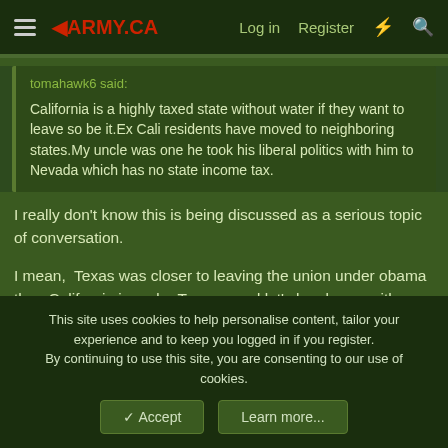ARMY.CA — Log in | Register
tomahawk6 said: California is a highly taxed state without water if they want to leave so be it.Ex Cali residents have moved to neighboring states.My uncle was one he took his liberal politics with him to Nevada which has no state income tax.
I really don't know this is being discussed as a serious topic of conversation.

I mean, Texas was closer to leaving the union under obama than California is under Trump, and let's be clear, neither are close.
This site uses cookies to help personalise content, tailor your experience and to keep you logged in if you register.
By continuing to use this site, you are consenting to our use of cookies.